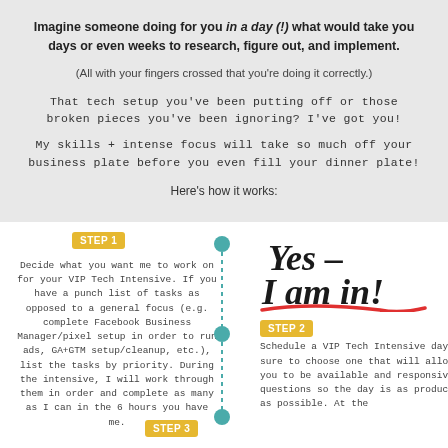Imagine someone doing for you in a day (!) what would take you days or even weeks to research, figure out, and implement.
(All with your fingers crossed that you're doing it correctly.)
That tech setup you've been putting off or those broken pieces you've been ignoring? I've got you!
My skills + intense focus will take so much off your business plate before you even fill your dinner plate!
Here's how it works:
[Figure (infographic): Step-by-step VIP Tech Intensive process with steps 1, 2, 3 shown on a dashed vertical timeline. Step 1: Decide what you want me to work on. Step 2: Schedule a VIP Tech Intensive day. Step 3: shown at bottom. A 'Yes - I am in!' handwritten-style text appears on the right with a red underline.]